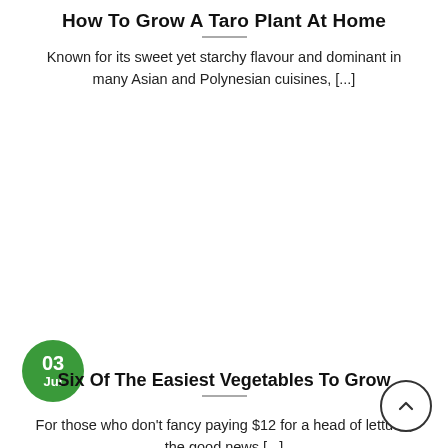How To Grow A Taro Plant At Home
Known for its sweet yet starchy flavour and dominant in many Asian and Polynesian cuisines, [...]
[Figure (other): Green circular date badge showing '03 Jul']
Six Of The Easiest Vegetables To Grow
For those who don't fancy paying $12 for a head of lettuce, the good news [...]
[Figure (other): Circular scroll-to-top button with upward chevron icon]